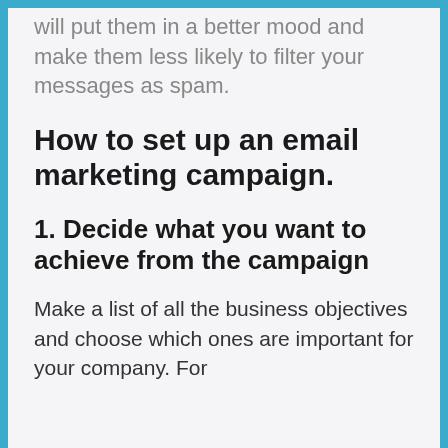will put them in a better mood and make them less likely to filter your messages as spam.
How to set up an email marketing campaign.
1. Decide what you want to achieve from the campaign
Make a list of all the business objectives and choose which ones are important for your company. For